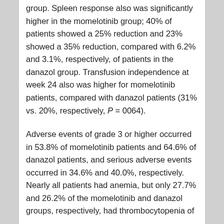group. Spleen response also was significantly higher in the momelotinib group; 40% of patients showed a 25% reduction and 23% showed a 35% reduction, compared with 6.2% and 3.1%, respectively, of patients in the danazol group. Transfusion independence at week 24 also was higher for momelotinib patients, compared with danazol patients (31% vs. 20%, respectively, P = 0064).
Adverse events of grade 3 or higher occurred in 53.8% of momelotinib patients and 64.6% of danazol patients, and serious adverse events occurred in 34.6% and 40.0%, respectively. Nearly all patients had anemia, but only 27.7% and 26.2% of the momelotinib and danazol groups, respectively, had thrombocytopenia of